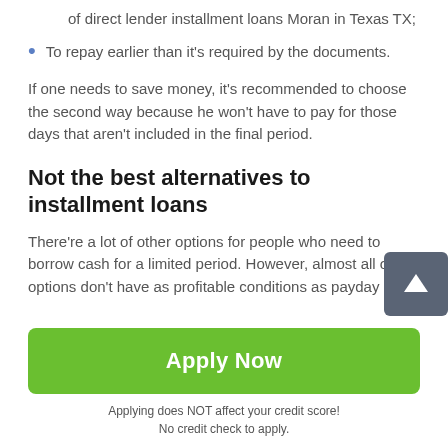of direct lender installment loans Moran in Texas TX;
To repay earlier than it's required by the documents.
If one needs to save money, it's recommended to choose the second way because he won't have to pay for those days that aren't included in the final period.
Not the best alternatives to installment loans
There're a lot of other options for people who need to borrow cash for a limited period. However, almost all options don't have as profitable conditions as payday
Apply Now
Applying does NOT affect your credit score!
No credit check to apply.